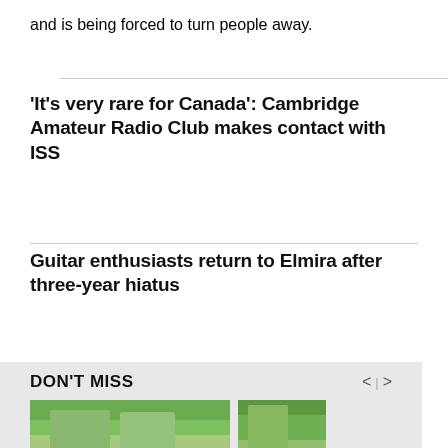and is being forced to turn people away.
'It's very rare for Canada': Cambridge Amateur Radio Club makes contact with ISS
Guitar enthusiasts return to Elmira after three-year hiatus
DON'T MISS
[Figure (photo): Two young boys wearing blue Toronto Blue Jays baseball caps and light blue jerseys sitting outdoors]
[Figure (photo): Partial view of another photo showing a person outdoors with trees in background]